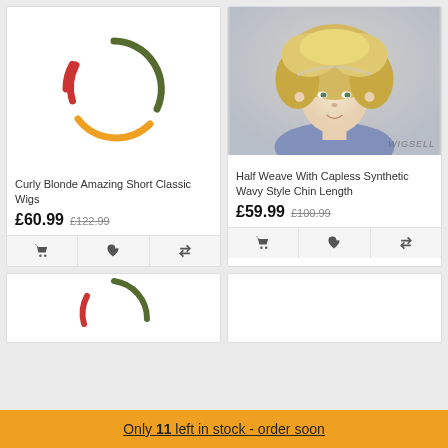[Figure (other): Circular spinner/gauge with three colored arcs (red, dark green, orange) indicating a loading or rating state.]
Curly Blonde Amazing Short Classic Wigs
£60.99  £122.99
[Figure (photo): Photo of a woman with short curly blonde hair wearing a sparkly headband, dressed in a blue top. Watermark reads WIGSELL.]
Half Weave With Capless Synthetic Wavy Style Chin Length
£59.99  £100.99
[Figure (other): Partial circular spinner/gauge with red and dark green arcs, bottom cut off.]
[Figure (other): Empty white card placeholder, partial.]
Only 11 left in stock - order soon